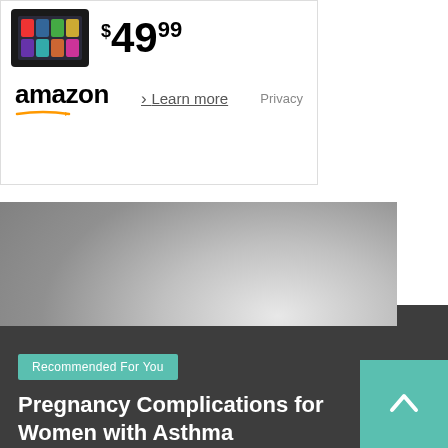[Figure (illustration): Amazon advertisement banner showing a tablet device with app icons and price $49.99, with amazon logo, Learn more link, and Privacy text]
[Figure (photo): Black and white photo of a pregnant woman lying on her side on a pillow, resting with eyes closed, hands cradling her belly]
Recommended For You
Pregnancy Complications for Women with Asthma